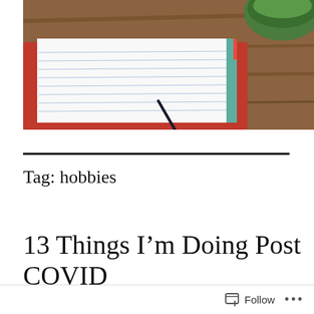[Figure (photo): Top-down view of an open lined notebook with a red cover, a green cup/bowl in the upper right corner, on a wooden table surface. A pen is visible on the notebook.]
Tag: hobbies
13 Things I'm Doing Post COVID
[Figure (photo): Group of three people smiling and socializing, shown from roughly chest-up against a bright background. One person has curly dark hair, one has blonde hair, one is partially visible on the right. A yellow object is visible.]
Follow ...